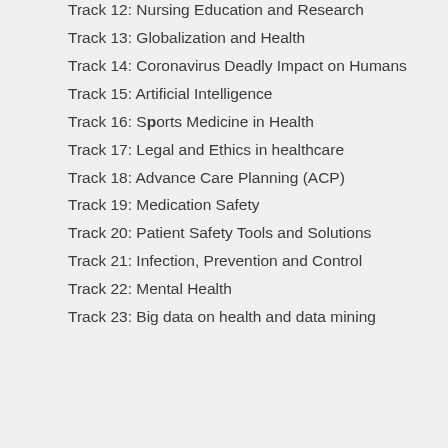Track 12: Nursing Education and Research
Track 13: Globalization and Health
Track 14: Coronavirus Deadly Impact on Humans
Track 15: Artificial Intelligence
Track 16: Sports Medicine in Health
Track 17: Legal and Ethics in healthcare
Track 18: Advance Care Planning (ACP)
Track 19: Medication Safety
Track 20: Patient Safety Tools and Solutions
Track 21: Infection, Prevention and Control
Track 22: Mental Health
Track 23: Big data on health and data mining